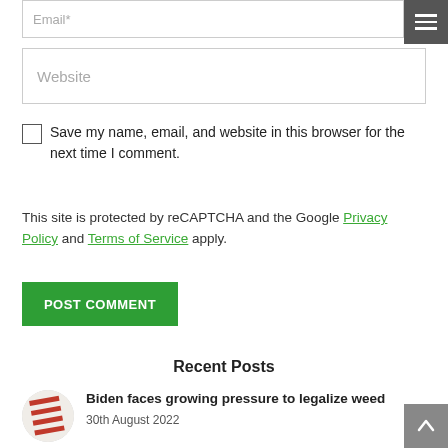Email*
Website
Save my name, email, and website in this browser for the next time I comment.
This site is protected by reCAPTCHA and the Google Privacy Policy and Terms of Service apply.
POST COMMENT
Recent Posts
Biden faces growing pressure to legalize weed
30th August 2022